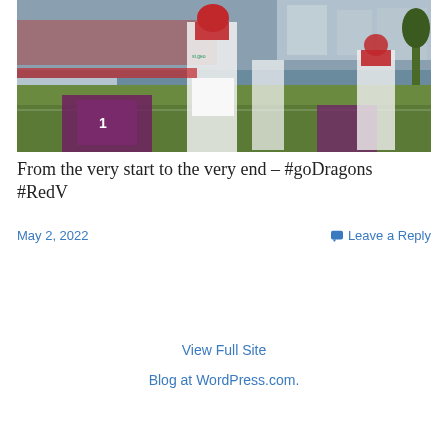[Figure (photo): Rugby league match photo showing players in red/white (St George Illawarra Dragons) and maroon/white (Manly Sea Eagles) jerseys on a grass field, with a stadium crowd in the background]
From the very start to the very end – #goDragons #RedV
May 2, 2022
Leave a Reply
View Full Site
Blog at WordPress.com.